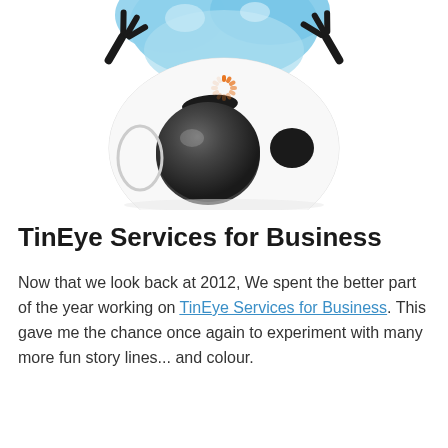[Figure (illustration): An illustrated cartoon character (TinEye mascot) shown upside down. The character has a large round head with a dark spherical eye, a small dark oval eye, a black eyebrow, a blue splash/blob on head, an orange loading spinner on the neck area, and black claw-like hands. The image is cropped showing mostly the upper/head portion of the character against a white background.]
TinEye Services for Business
Now that we look back at 2012, We spent the better part of the year working on TinEye Services for Business. This gave me the chance once again to experiment with many more fun story lines... and colour.